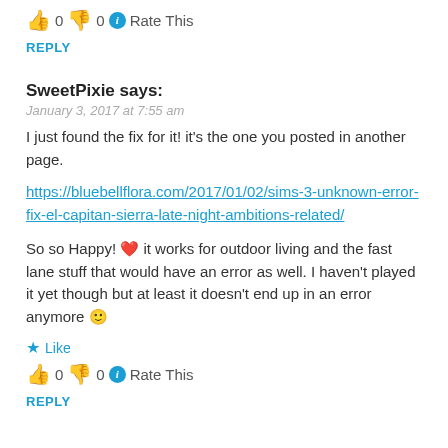👍 0 👎 0 ℹ Rate This
REPLY
SweetPixie says:
January 3, 2017 at 7:55 am
I just found the fix for it! it's the one you posted in another page.
https://bluebellflora.com/2017/01/02/sims-3-unknown-error-fix-el-capitan-sierra-late-night-ambitions-related/
So so Happy! ❤ it works for outdoor living and the fast lane stuff that would have an error as well. I haven't played it yet though but at least it doesn't end up in an error anymore 🙂
Like
👍 0 👎 0 ℹ Rate This
REPLY